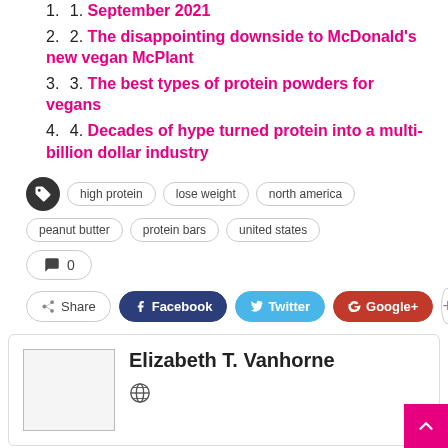September 2021
2. The disappointing downside to McDonald's new vegan McPlant
3. The best types of protein powders for vegans
4. Decades of hype turned protein into a multi-billion dollar industry
Tags: high protein, lose weight, north america, peanut butter, protein bars, united states
0 comments
Share | Facebook | Twitter | Google+ | +
Elizabeth T. Vanhorne